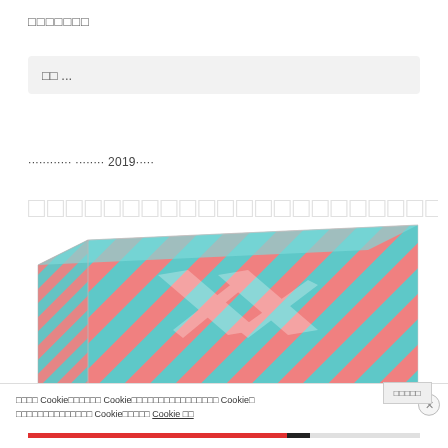□□□□□□□
□□ ...
············ ········ 2019·····
[Figure (photo): A product box with diagonal pink and teal/cyan stripes, shown in perspective view with a stylized bird or logo watermark on the surface.]
□□□□ Cookie□□□□□□ Cookie□□□□□□□□□□□□□□□□ Cookie□ □□□□□□□□□□□□□□ Cookie□□□□□ Cookie □□
□□□□□